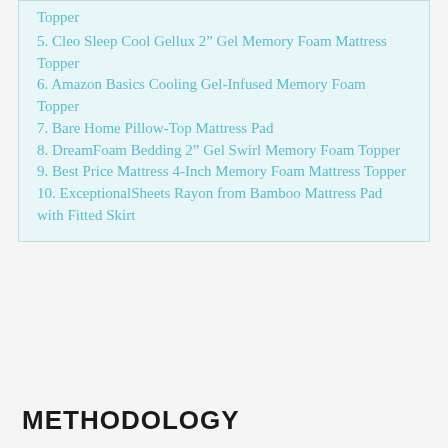Topper
5. Cleo Sleep Cool Gellux 2” Gel Memory Foam Mattress Topper
6. Amazon Basics Cooling Gel-Infused Memory Foam Topper
7. Bare Home Pillow-Top Mattress Pad
8. DreamFoam Bedding 2” Gel Swirl Memory Foam Topper
9. Best Price Mattress 4-Inch Memory Foam Mattress Topper
10. ExceptionalSheets Rayon from Bamboo Mattress Pad with Fitted Skirt
METHODOLOGY